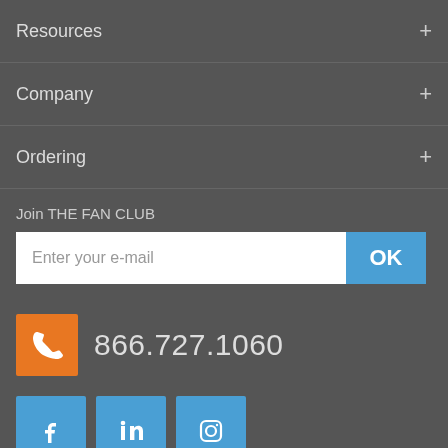Resources +
Company +
Ordering +
Join THE FAN CLUB
Enter your e-mail
866.727.1060
[Figure (infographic): Social media icons: Facebook, LinkedIn, Instagram in blue square buttons]